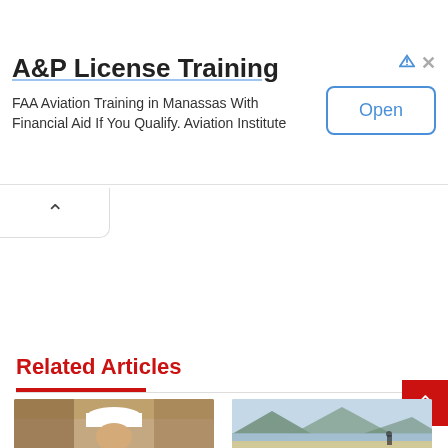[Figure (other): Advertisement banner: A&P License Training. FAA Aviation Training in Manassas With Financial Aid If You Qualify. Aviation Institute. Open button.]
Related Articles
[Figure (photo): Thumbnail photo of a person wearing a white chef hat]
[Figure (photo): Thumbnail photo of a landscape with mountains, water, and a person]